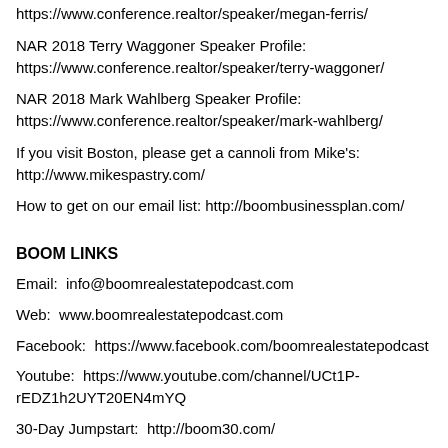https://www.conference.realtor/speaker/megan-ferris/
NAR 2018 Terry Waggoner Speaker Profile: https://www.conference.realtor/speaker/terry-waggoner/
NAR 2018 Mark Wahlberg Speaker Profile: https://www.conference.realtor/speaker/mark-wahlberg/
If you visit Boston, please get a cannoli from Mike's: http://www.mikespastry.com/
How to get on our email list: http://boombusinessplan.com/
BOOM LINKS
Email:  info@boomrealestatepodcast.com
Web:  www.boomrealestatepodcast.com
Facebook:  https://www.facebook.com/boomrealestatepodcast
Youtube:  https://www.youtube.com/channel/UCt1P-rEDZ1h2UYT20EN4mYQ
30-Day Jumpstart:  http://boom30.com/